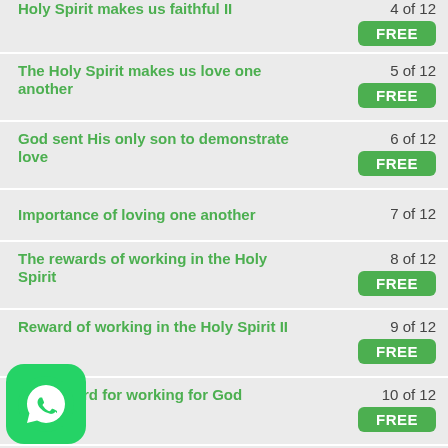Holy Spirit makes us faithful II
The Holy Spirit makes us love one another
God sent His only son to demonstrate love
Importance of loving one another
The rewards of working in the Holy Spirit
Reward of working in the Holy Spirit II
The reward for working for God
reward of the faithful servants
[Figure (logo): WhatsApp logo icon in green rounded square]